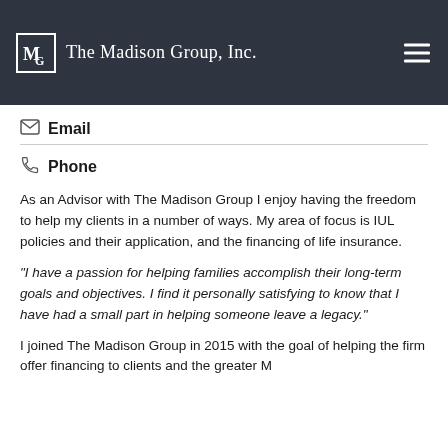The Madison Group, Inc.
Email
Phone
As an Advisor with The Madison Group I enjoy having the freedom to help my clients in a number of ways. My area of focus is IUL policies and their application, and the financing of life insurance.
“I have a passion for helping families accomplish their long-term goals and objectives. I find it personally satisfying to know that I have had a small part in helping someone leave a legacy.”
I joined The Madison Group in 2015 with the goal of helping the firm offer financing to clients and the greater M...